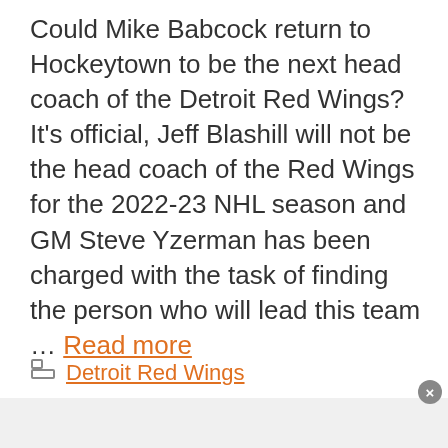Could Mike Babcock return to Hockeytown to be the next head coach of the Detroit Red Wings? It's official, Jeff Blashill will not be the head coach of the Red Wings for the 2022-23 NHL season and GM Steve Yzerman has been charged with the task of finding the person who will lead this team … Read more
Categories: Detroit Red Wings
Tags: Detroit Red Wings, Mike Babcock, Steve Yzerman
1 Comment